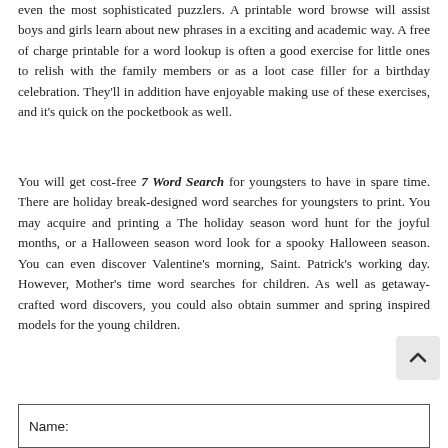even the most sophisticated puzzlers. A printable word browse will assist boys and girls learn about new phrases in a exciting and academic way. A free of charge printable for a word lookup is often a good exercise for little ones to relish with the family members or as a loot case filler for a birthday celebration. They'll in addition have enjoyable making use of these exercises, and it's quick on the pocketbook as well.
You will get cost-free 7 Word Search for youngsters to have in spare time. There are holiday break-designed word searches for youngsters to print. You may acquire and printing a The holiday season word hunt for the joyful months, or a Halloween season word look for a spooky Halloween season. You can even discover Valentine's morning, Saint. Patrick's working day. However, Mother's time word searches for children. As well as getaway-crafted word discovers, you could also obtain summer and spring inspired models for the young children.
Name: